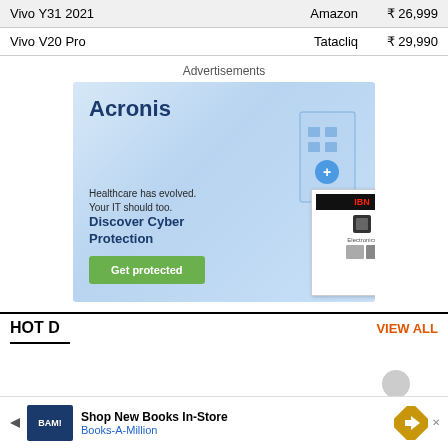| Product | Store | Price |
| --- | --- | --- |
| Vivo Y31 2021 | Amazon | ₹ 26,999 |
| Vivo V20 Pro | Tatacliq | ₹ 29,990 |
Advertisements
[Figure (illustration): Acronis advertisement banner: 'Healthcare has evolved. Your IT should too. Discover Cyber Protection' with a Get protected button and isometric building illustration]
[Figure (illustration): Small secondary ad showing electronic products (appliances) with a red dot/close button]
HOT D... VIEW ALL
[Figure (illustration): Bottom banner ad: BAM! Books-A-Million - Shop New Books In-Store with navigation arrow]